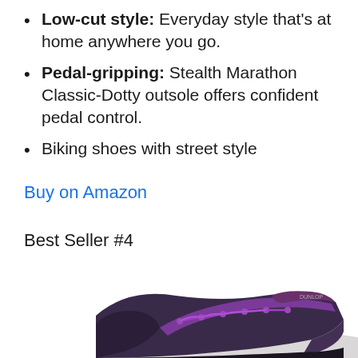Low-cut style: Everyday style that's at home anywhere you go.
Pedal-gripping: Stealth Marathon Classic-Dotty outsole offers confident pedal control.
Biking shoes with street style
Buy on Amazon
Best Seller #4
[Figure (photo): Purple and black low-cut biking shoe with purple laces, viewed from the side at an angle, partially cropped at bottom of image.]